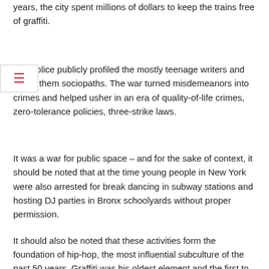years, the city spent millions of dollars to keep the trains free of graffiti.
The police publicly profiled the mostly teenage writers and called them sociopaths. The war turned misdemeanors into crimes and helped usher in an era of quality-of-life crimes, zero-tolerance policies, three-strike laws.
It was a war for public space – and for the sake of context, it should be noted that at the time young people in New York were also arrested for break dancing in subway stations and hosting DJ parties in Bronx schoolyards without proper permission.
It should also be noted that these activities form the foundation of hip-hop, the most influential subculture of the past 50 years. Graffiti was his oldest element and the first to reach maturity. What began in the late 1960s when crude marker signatures turned into large-scale spray-painted murals in the early 1970s. In the early 1980s, graffiti artists were breaking up the alphabet into cubist abstraction ,